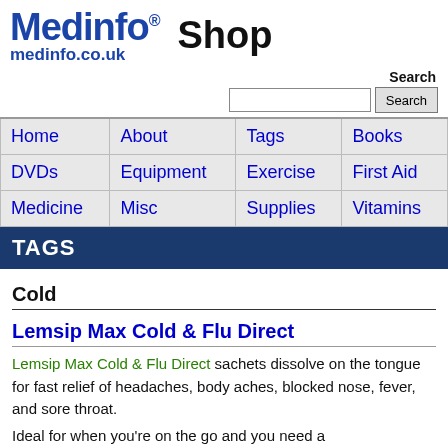Medinfo® medinfo.co.uk Shop
| Home | About | Tags | Books |
| --- | --- | --- | --- |
| DVDs | Equipment | Exercise | First Aid |
| Medicine | Misc | Supplies | Vitamins |
TAGS
Cold
Lemsip Max Cold & Flu Direct
Lemsip Max Cold & Flu Direct sachets dissolve on the tongue for fast relief of headaches, body aches, blocked nose, fever, and sore throat.
Ideal for when you're on the go and you need a